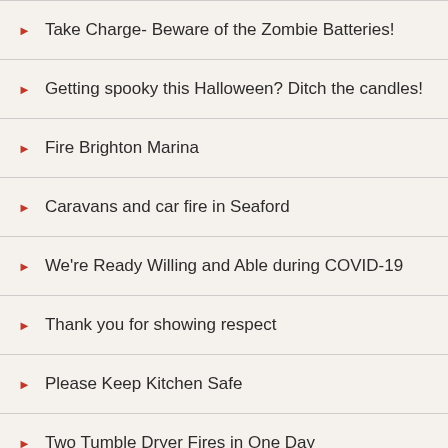Take Charge- Beware of the Zombie Batteries!
Getting spooky this Halloween? Ditch the candles!
Fire Brighton Marina
Caravans and car fire in Seaford
We're Ready Willing and Able during COVID-19
Thank you for showing respect
Please Keep Kitchen Safe
Two Tumble Dryer Fires in One Day
Fire- North Street, Brighton
Fire- North Street, Brighton- Update
Fire- North Street- Crews remain on scene